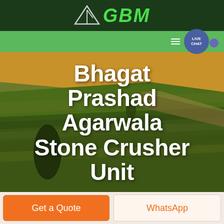GBM
[Figure (screenshot): GBM company logo with triangle/arrow icon in dark green header bar, with green navigation bar and Live Chat bubble button]
Bhagat Prashad Agarwala Stone Crusher Unit
Get a Quote
WhatsApp